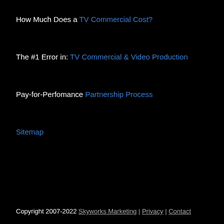How Much Does a TV Commercial Cost?
The #1 Error in: TV Commercial & Video Production
Pay-for-Perfomance Partnership Process
Sitemap
Copyright 2007-2022 Skyworks Marketing | Privacy | Contact